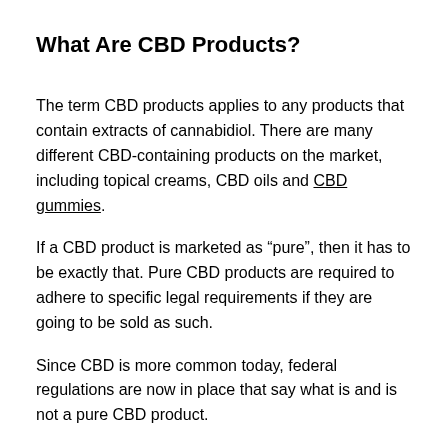What Are CBD Products?
The term CBD products applies to any products that contain extracts of cannabidiol. There are many different CBD-containing products on the market, including topical creams, CBD oils and CBD gummies.
If a CBD product is marketed as “pure”, then it has to be exactly that. Pure CBD products are required to adhere to specific legal requirements if they are going to be sold as such.
Since CBD is more common today, federal regulations are now in place that say what is and is not a pure CBD product.